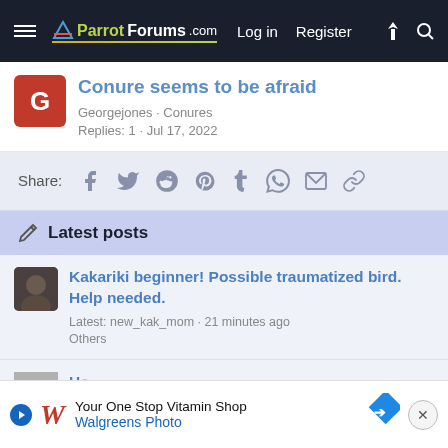ParrotForums.com  Log in  Register
Conure seems to be afraid
Georgejones · Conures
Replies: 1 · Jul 17, 2022
Share: (social icons)
Latest posts
Kakariki beginner! Possible traumatized bird. Help needed.
Latest: new_kak_mom · 21 minutes ago
Others
[Figure (screenshot): Walgreens ad banner: Your One Stop Vitamin Shop, Walgreens Photo]